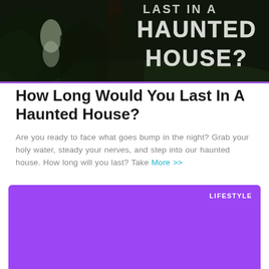[Figure (photo): Dark horror movie style image showing haunted house scene with ghostly figures and large white distressed text reading 'LAST IN A HAUNTED HOUSE?' on dark background]
How Long Would You Last In A Haunted House?
Are you ready to face what goes bump in the night? Grab your holy water, steady your nerves, and step into our haunted house. How long will you last? Take More >>
[Figure (photo): Purple/violet solid color card block with LIFESTYLE label in top right corner]